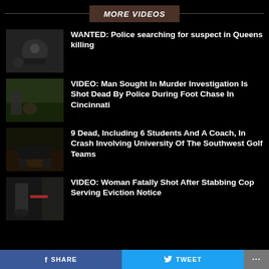MORE VIDEOS
WANTED: Police searching for suspect in Queens killing
VIDEO: Man Sought In Murder Investigation Is Shot Dead By Police During Foot Chase In Cincinnati
9 Dead, Including 6 Students And A Coach, In Crash Involving University Of The Southwest Golf Teams
VIDEO: Woman Fatally Shot After Stabbing Cop Serving Eviction Notice
SHARE   TWEET